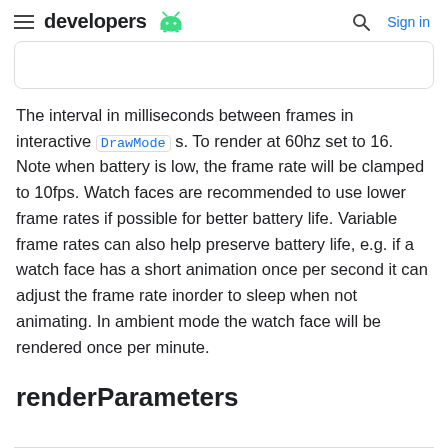developers [android logo] [search] Sign in
The interval in milliseconds between frames in interactive DrawMode s. To render at 60hz set to 16. Note when battery is low, the frame rate will be clamped to 10fps. Watch faces are recommended to use lower frame rates if possible for better battery life. Variable frame rates can also help preserve battery life, e.g. if a watch face has a short animation once per second it can adjust the frame rate inorder to sleep when not animating. In ambient mode the watch face will be rendered once per minute.
renderParameters